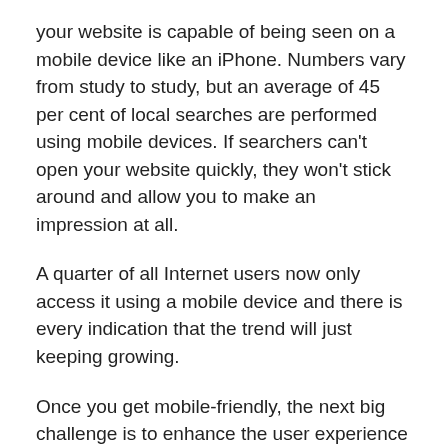your website is capable of being seen on a mobile device like an iPhone. Numbers vary from study to study, but an average of 45 per cent of local searches are performed using mobile devices. If searchers can't open your website quickly, they won't stick around and allow you to make an impression at all.
A quarter of all Internet users now only access it using a mobile device and there is every indication that the trend will just keeping growing.
Once you get mobile-friendly, the next big challenge is to enhance the user experience on your website. Two trends that were popular five years ago but don't work now are designs in Flash and designs that open with background music.